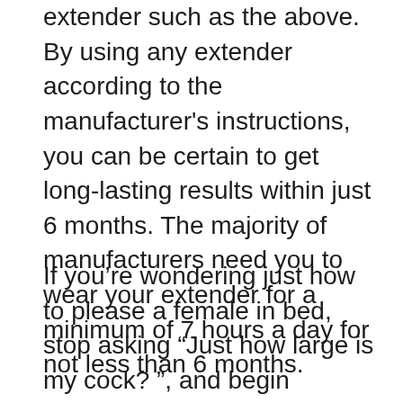extender such as the above. By using any extender according to the manufacturer's instructions, you can be certain to get long-lasting results within just 6 months. The majority of manufacturers need you to wear your extender for a minimum of 7 hours a day for not less than 6 months.
If you’re wondering just how to please a female in bed, stop asking “Just how large is my cock? ”, and begin utilizing a practical strategy instead. It would certainly be much more practical to concentrate on the size of your pricks and just how you can improve its dimension. You can find out more on this at:
In our contemporary culture, there are a lot of products that declare to boost your size,